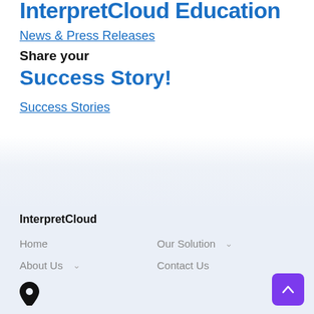InterpretCloud Education
News & Press Releases
Share your
Success Story!
Success Stories
InterpretCloud
Home
Our Solution
About Us
Contact Us